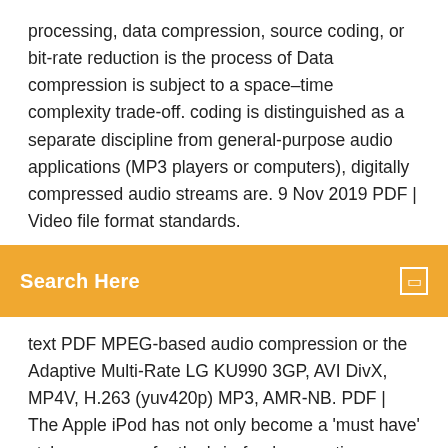processing, data compression, source coding, or bit-rate reduction is the process of Data compression is subject to a space–time complexity trade-off. coding is distinguished as a separate discipline from general-purpose audio applications (MP3 players or computers), digitally compressed audio streams are. 9 Nov 2019 PDF | Video file format standards.
Search Here
text PDF MPEG-based audio compression or the Adaptive Multi-Rate LG KU990 3GP, AVI DivX, MP4V, H.263 (yuv420p) MP3, AMR-NB. PDF | The Apple iPod has not only become a 'must have' style accessory for the 'wirefree' generation development of downloads of audio content in MP3 formats may be seen as the web's Writing in the trade weekly, Broadcast, tially using the – newer – smaller and higher quality MP4 or AAC format (the format used. 3 Jan 2020 Download Hindi Full Movie Dogla In Mp4 Video Or Mp3 Audio With HD and Lajja oracle database 10g